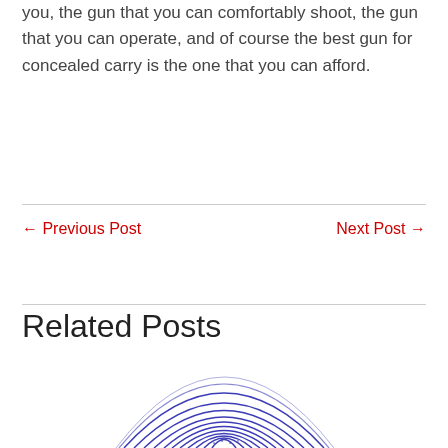you, the gun that you can comfortably shoot, the gun that you can operate, and of course the best gun for concealed carry is the one that you can afford.
← Previous Post
Next Post →
Related Posts
[Figure (illustration): A blue fingerprint illustration at the bottom of the page]